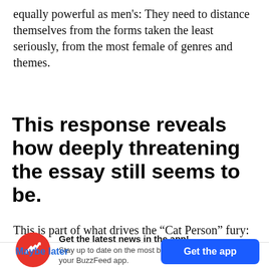equally powerful as men's: They need to distance themselves from the forms taken the least seriously, from the most female of genres and themes.
This response reveals how deeply threatening the essay still seems to be.
This is part of what drives the “Cat Person” fury:
[Figure (infographic): BuzzFeed app notification prompt with red circular logo containing a white trending arrow, bold text 'Get the latest news in the app!', subtext 'Stay up to date on the most breaking news, all from your BuzzFeed app.', a 'Maybe later' blue text button, and a blue 'Get the app' button.]